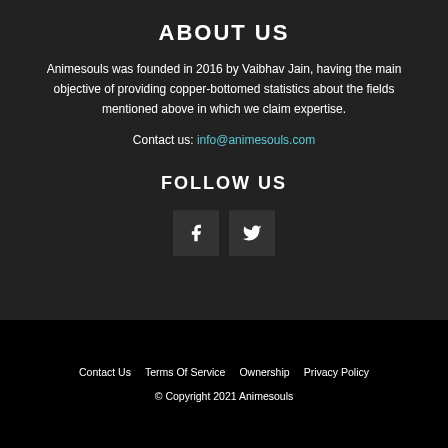ABOUT US
Animesouls was founded in 2016 by Vaibhav Jain, having the main objective of providing copper-bottomed statistics about the fields mentioned above in which we claim expertise.
Contact us: info@animesouls.com
FOLLOW US
[Figure (illustration): Facebook and Twitter social media icon buttons]
Contact Us   Terms Of Service   Ownership   Privacy Policy
© Copyright 2021 Animesouls